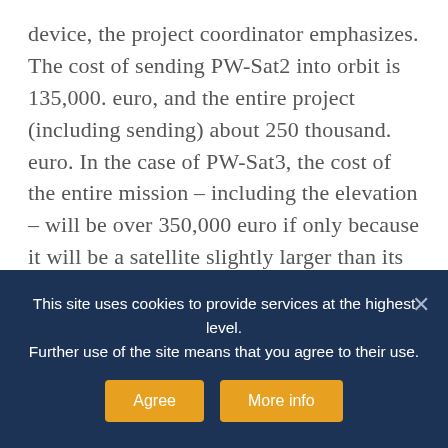device, the project coordinator emphasizes. The cost of sending PW-Sat2 into orbit is 135,000. euro, and the entire project (including sending) about 250 thousand. euro. In the case of PW-Sat3, the cost of the entire mission – including the elevation – will be over 350,000 euro if only because it will be a satellite slightly larger than its predecessor. The team has already obtained funding from the “The best of the best” program of the Ministry of Science and is applying for a grant from another ministerial program. In addition, he financially helps students, among
This site uses cookies to provide services at the highest level. Further use of the site means that you agree to their use.
Agree
More info